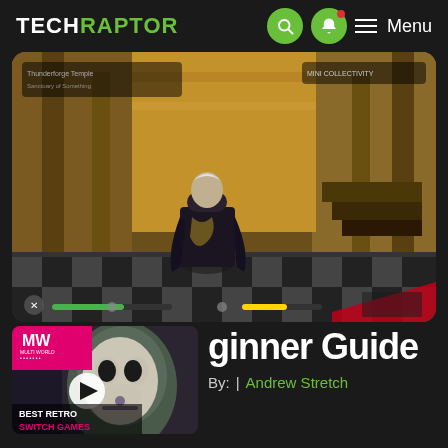TechRaptor
[Figure (screenshot): Video game screenshot showing ornate grand hall interior with checkered floor, character in dark cloak, game HUD elements visible]
[Figure (photo): Video thumbnail with MW logo badge, play button, character face, and text BEST RETRO SWITCH GAMES]
ginner Guide
By: Andrew Stretch